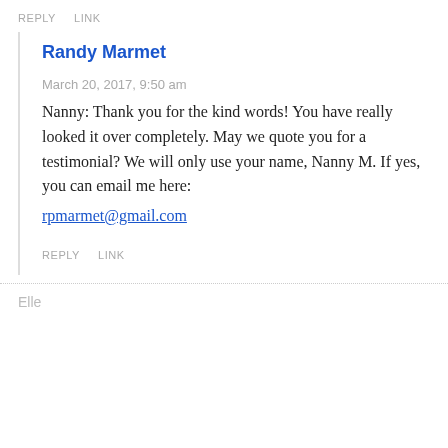REPLY   LINK
Randy Marmet
March 20, 2017, 9:50 am
Nanny: Thank you for the kind words! You have really looked it over completely. May we quote you for a testimonial? We will only use your name, Nanny M. If yes, you can email me here: rpmarmet@gmail.com
REPLY   LINK
Elle